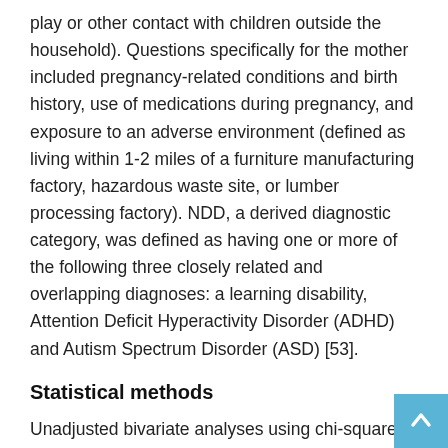play or other contact with children outside the household). Questions specifically for the mother included pregnancy-related conditions and birth history, use of medications during pregnancy, and exposure to an adverse environment (defined as living within 1-2 miles of a furniture manufacturing factory, hazardous waste site, or lumber processing factory). NDD, a derived diagnostic category, was defined as having one or more of the following three closely related and overlapping diagnoses: a learning disability, Attention Deficit Hyperactivity Disorder (ADHD) and Autism Spectrum Disorder (ASD) [53].
Statistical methods
Unadjusted bivariate analyses using chi-square tests were performed initially to test the null hypothesis of no association between vaccination status and health